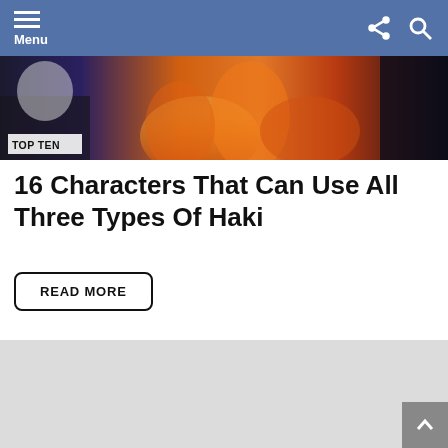Menu
[Figure (photo): Dark anime-style scene with fire and characters, labeled TOP TEN]
16 Characters That Can Use All Three Types Of Haki
READ MORE
[Figure (other): Gray placeholder advertisement or content box]